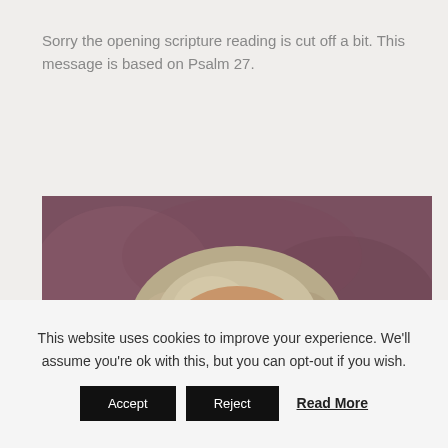Sorry the opening scripture reading is cut off a bit. This message is based on Psalm 27.
[Figure (photo): Portrait photograph of a middle-aged man with gray-blond hair, wearing glasses and a dark shirt, smiling, against a mottled brown/mauve background.]
This website uses cookies to improve your experience. We'll assume you're ok with this, but you can opt-out if you wish. Accept Reject Read More